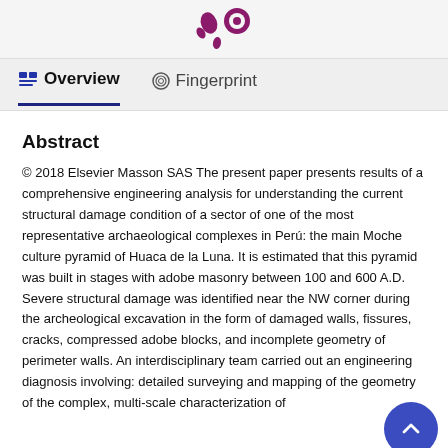[Figure (logo): Purple stylized logo with droplet and circular element, Elsevier/journal branding]
Overview   Fingerprint
Abstract
© 2018 Elsevier Masson SAS The present paper presents results of a comprehensive engineering analysis for understanding the current structural damage condition of a sector of one of the most representative archaeological complexes in Perú: the main Moche culture pyramid of Huaca de la Luna. It is estimated that this pyramid was built in stages with adobe masonry between 100 and 600 A.D. Severe structural damage was identified near the NW corner during the archeological excavation in the form of damaged walls, fissures, cracks, compressed adobe blocks, and incomplete geometry of perimeter walls. An interdisciplinary team carried out an engineering diagnosis involving: detailed surveying and mapping of the geometry of the complex, multi-scale characterization of